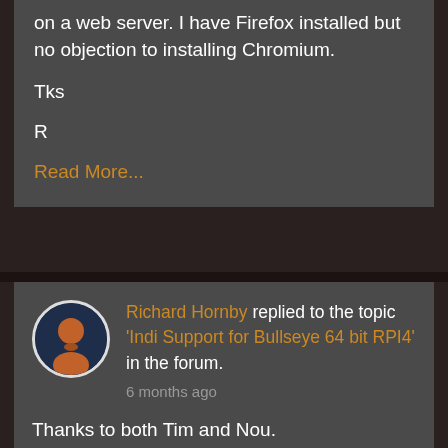on a web server. I have Firefox installed but no objection to installing Chromium.
Tks
R
Read More...
Richard Hornby replied to the topic 'Indi Support for Bullseye 64 bit RPI4' in the forum.
6 months ago
Thanks to both Tim and Nou.
I may have failed to change to the correct